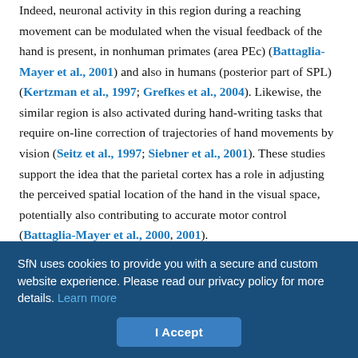Indeed, neuronal activity in this region during a reaching movement can be modulated when the visual feedback of the hand is present, in nonhuman primates (area PEc) (Battaglia-Mayer et al., 2001) and also in humans (posterior part of SPL) (Kertzman et al., 1997; Grefkes et al., 2004). Likewise, the similar region is also activated during hand-writing tasks that require on-line correction of trajectories of hand movements by vision (Seitz et al., 1997; Siebner et al., 2001). These studies support the idea that the parietal cortex has a role in adjusting the perceived spatial location of the hand in the visual space, potentially also contributing to accurate motor control (Battaglia-Mayer et al., 2000, 2001).

Our finding is also consistent with neurological studies on patients with a PPC (including SPL) lesion. The PPC patients exhibit
SfN uses cookies to provide you with a secure and custom website experience. Please read our privacy policy for more details. Learn more